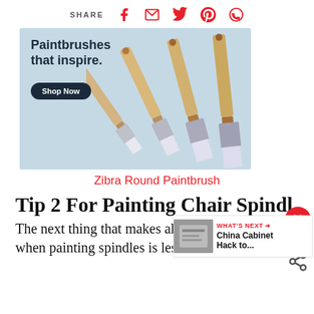SHARE
[Figure (photo): Advertisement banner for Zibra paintbrushes showing four flat paintbrushes with wooden handles and white bristles on a light blue background. Text reads 'Paintbrushes that inspire.' with a dark 'Shop Now' button.]
Zibra Round Paintbrush
Tip 2 For Painting Chair Spindles
The next thing that makes all the difference when painting spindles is less is more!